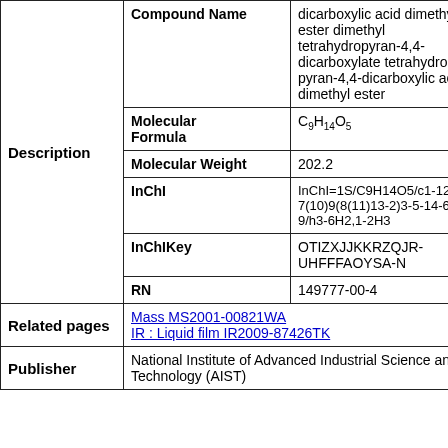|  | Field | Value |
| --- | --- | --- |
| Description | Compound Name | dicarboxylic acid dimethyl ester dimethyl tetrahydropyran-4,4-dicarboxylate tetrahydro-4H-pyran-4,4-dicarboxylic acid dimethyl ester |
|  | Molecular Formula | C9H14O5 |
|  | Molecular Weight | 202.2 |
|  | InChI | InChI=1S/C9H14O5/c1-12-7(10)9(8(11)13-2)3-5-14-6-4-9/h3-6H2,1-2H3 |
|  | InChIKey | OTIZXJJKKRZQJR-UHFFFAOYSA-N |
|  | RN | 149777-00-4 |
| Related pages | Mass MS2001-00821WA
IR : Liquid film IR2009-87426TK |  |
| Publisher | National Institute of Advanced Industrial Science and Technology (AIST) |  |